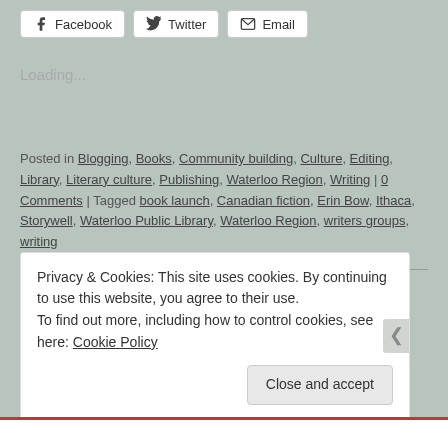Facebook  Twitter  Email (share buttons)
Loading...
Posted in Blogging, Books, Community building, Culture, Editing, Library, Literary culture, Publishing, Waterloo Region, Writing | 0 Comments | Tagged book launch, Canadian fiction, Erin Bow, Ithaca, Storywell, Waterloo Public Library, Waterloo Region, writers groups, writing
Privacy & Cookies: This site uses cookies. By continuing to use this website, you agree to their use.
To find out more, including how to control cookies, see here: Cookie Policy